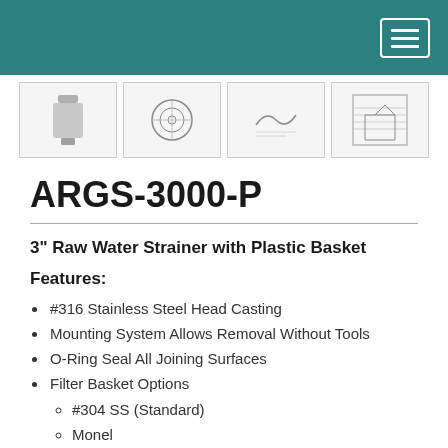Navigation header with teal background and menu button
[Figure (photo): Strip of four product thumbnail images showing the ARGS-3000-P strainer from different angles and a specification drawing]
ARGS-3000-P
3" Raw Water Strainer with Plastic Basket
Features:
#316 Stainless Steel Head Casting
Mounting System Allows Removal Without Tools
O-Ring Seal All Joining Surfaces
Filter Basket Options
#304 SS (Standard)
Monel
Non-Metallic
One-Piece Molded Sight Glass Eliminates Tie